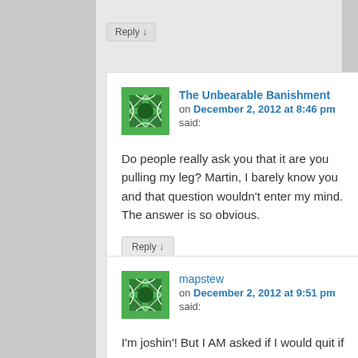Reply ↓
The Unbearable Banishment on December 2, 2012 at 8:46 pm said:
Do people really ask you that it are you pulling my leg? Martin, I barely know you and that question wouldn't enter my mind. The answer is so obvious.
Reply ↓
mapstew on December 2, 2012 at 9:51 pm said:
I'm joshin'! But I AM asked if I would quit if